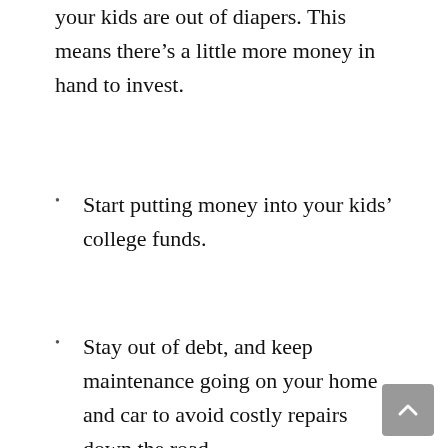your kids are out of diapers. This means there’s a little more money in hand to invest.
Start putting money into your kids’ college funds.
Stay out of debt, and keep maintenance going on your home and car to avoid costly repairs down the road